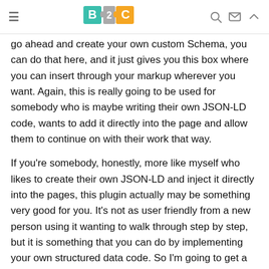B2C logo with hamburger menu and search/mail/up icons
go ahead and create your own custom Schema, you can do that here, and it just gives you this box where you can insert through your markup wherever you want. Again, this is really going to be used for somebody who is maybe writing their own JSON-LD code, wants to add it directly into the page and allow them to continue on with their work that way.
If you're somebody, honestly, more like myself who likes to create their own JSON-LD and inject it directly into the pages, this plugin actually may be something very good for you. It's not as user friendly from a new person using it wanting to walk through step by step, but it is something that you can do by implementing your own structured data code. So I'm going to get a piece of code. I'm going to inject it into here, and then we're going to run the rich results test, and